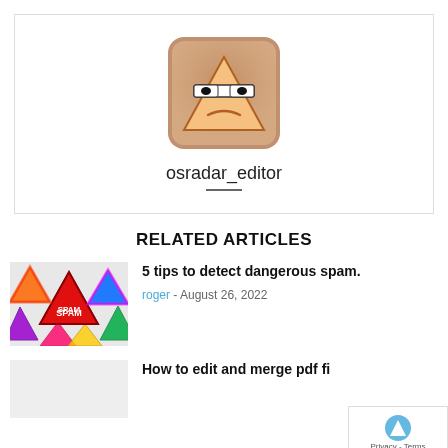[Figure (illustration): Profile avatar: cartoon triangle face with glasses, frowning expression, on brown rounded square background]
osradar_editor
RELATED ARTICLES
[Figure (photo): Colorful collection of triangular SPAM warning signs with red triangles and colorful borders]
5 tips to detect dangerous spam.
roger - August 26, 2022
[Figure (photo): Light grey placeholder thumbnail for second article]
How to edit and merge pdf fi